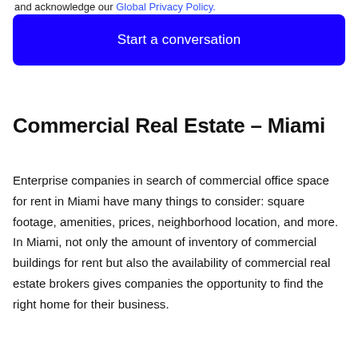and acknowledge our Global Privacy Policy.
Start a conversation
Commercial Real Estate – Miami
Enterprise companies in search of commercial office space for rent in Miami have many things to consider: square footage, amenities, prices, neighborhood location, and more. In Miami, not only the amount of inventory of commercial buildings for rent but also the availability of commercial real estate brokers gives companies the opportunity to find the right home for their business.